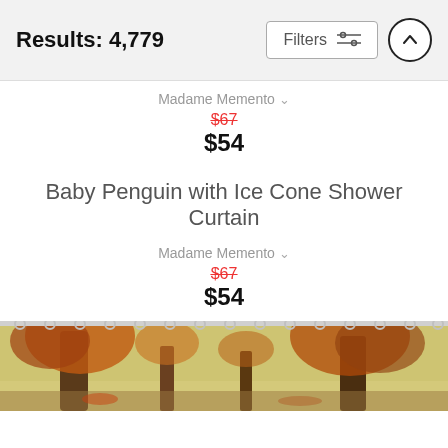Results: 4,779
Madame Memento
$67 (original price, crossed out) $54 (sale price)
Baby Penguin with Ice Cone Shower Curtain
Madame Memento
$67 (original price, crossed out) $54 (sale price)
[Figure (photo): Partial product image of a shower curtain showing an autumn forest scene with trees in fall colors (orange, yellow, green). Curtain rings visible at top.]